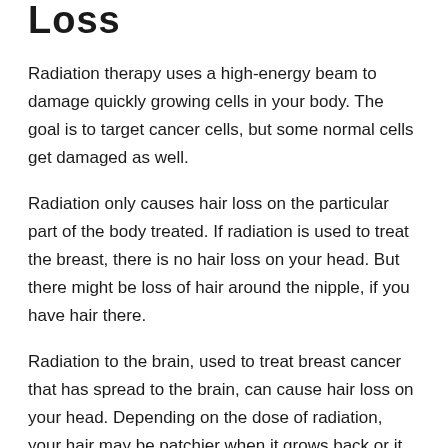Loss
Radiation therapy uses a high-energy beam to damage quickly growing cells in your body. The goal is to target cancer cells, but some normal cells get damaged as well.
Radiation only causes hair loss on the particular part of the body treated. If radiation is used to treat the breast, there is no hair loss on your head. But there might be loss of hair around the nipple, if you have hair there.
Radiation to the brain, used to treat breast cancer that has spread to the brain, can cause hair loss on your head. Depending on the dose of radiation, your hair may be patchier when it grows back or it may not grow back.
You May Like: How To Know If My Hair Is Thinning